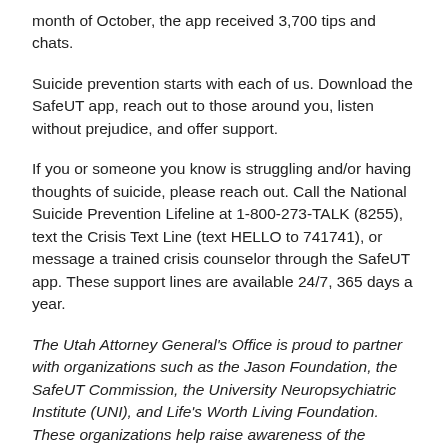month of October, the app received 3,700 tips and chats.
Suicide prevention starts with each of us. Download the SafeUT app, reach out to those around you, listen without prejudice, and offer support.
If you or someone you know is struggling and/or having thoughts of suicide, please reach out. Call the National Suicide Prevention Lifeline at 1-800-273-TALK (8255), text the Crisis Text Line (text HELLO to 741741), or message a trained crisis counselor through the SafeUT app. These support lines are available 24/7, 365 days a year.
The Utah Attorney General's Office is proud to partner with organizations such as the Jason Foundation, the SafeUT Commission, the University Neuropsychiatric Institute (UNI), and Life's Worth Living Foundation. These organizations help raise awareness of the prevalence of suicide in the State of Utah and provide resources and education on suicide prevention.